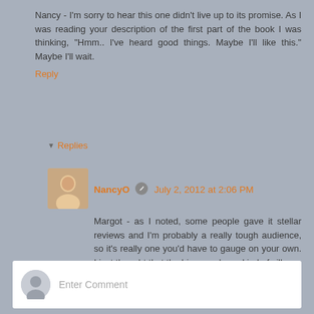Nancy - I'm sorry to hear this one didn't live up to its promise. As I was reading your description of the first part of the book I was thinking, "Hmm.. I've heard good things. Maybe I'll like this." Maybe I'll wait.
Reply
▼ Replies
NancyO  July 2, 2012 at 2:06 PM
Margot - as I noted, some people gave it stellar reviews and I'm probably a really tough audience, so it's really one you'd have to gauge on your own. I just thought that the big reveal was kind of silly.
Reply
Enter Comment